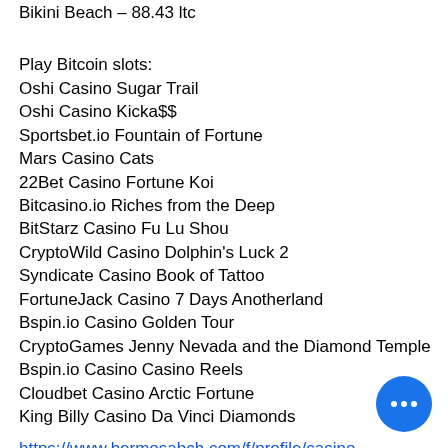Bikini Beach – 88.43 ltc
Play Bitcoin slots:
Oshi Casino Sugar Trail
Oshi Casino Kicka$$
Sportsbet.io Fountain of Fortune
Mars Casino Cats
22Bet Casino Fortune Koi
Bitcasino.io Riches from the Deep
BitStarz Casino Fu Lu Shou
CryptoWild Casino Dolphin's Luck 2
Syndicate Casino Book of Tattoo
FortuneJack Casino 7 Days Anotherland
Bspin.io Casino Golden Tour
CryptoGames Jenny Nevada and the Diamond Temple
Bspin.io Casino Casino Reels
Cloudbet Casino Arctic Fortune
King Billy Casino Da Vinci Diamonds
https://www.hermosabch.com/f/profile/casino